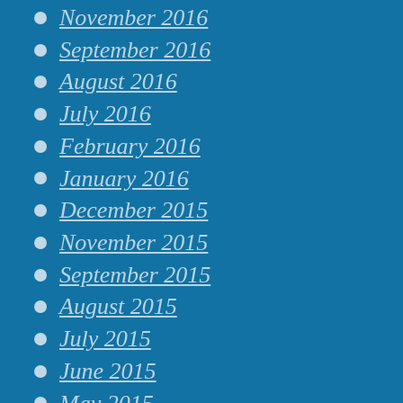November 2016
September 2016
August 2016
July 2016
February 2016
January 2016
December 2015
November 2015
September 2015
August 2015
July 2015
June 2015
May 2015
April 2015
March 2015
February 2015
January 2015